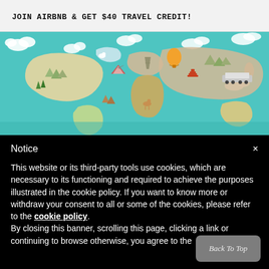JOIN AIRBNB & GET $40 TRAVEL CREDIT!
[Figure (illustration): Illustrated world map with colorful cartoon landmarks, animals, and icons representing different countries and regions on a teal/turquoise background]
Notice
This website or its third-party tools use cookies, which are necessary to its functioning and required to achieve the purposes illustrated in the cookie policy. If you want to know more or withdraw your consent to all or some of the cookies, please refer to the cookie policy. By closing this banner, scrolling this page, clicking a link or continuing to browse otherwise, you agree to the
Back To Top